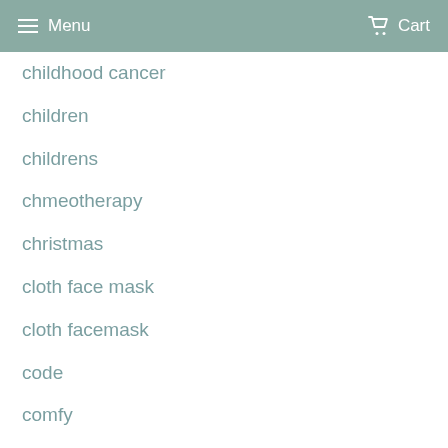Menu  Cart
childhood cancer
children
childrens
chmeotherapy
christmas
cloth face mask
cloth facemask
code
comfy
coppafeel
Coronavirus
coronovirus
coton
cotton
cotton face mask